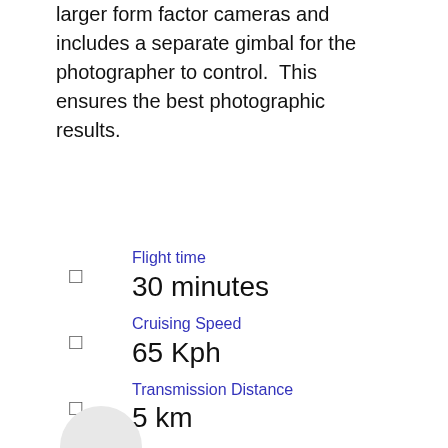larger form factor cameras and includes a separate gimbal for the photographer to control.  This ensures the best photographic results.
Flight time
30 minutes
Cruising Speed
65 Kph
Transmission Distance
5 km